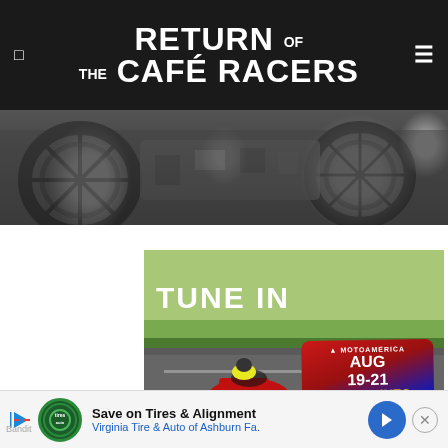RETURN OF THE CAFÉ RACERS
[Figure (photo): Motorcycle engine and wheel close-up hero banner]
[Figure (photo): MotoAmerica Superbikes at Pittsburgh race photo with TUNE IN text overlay and AUG 19-21 event badge, LaRoche Aviation Services sponsor]
AUG 20 AT 8:30PM ET
AUG 21 AT 2:00PM ET
[Figure (logo): FS2 (Fox Sports 2) logo]
Save on Tires & Alignment
Virginia Tire & Auto of Ashburn Fa.